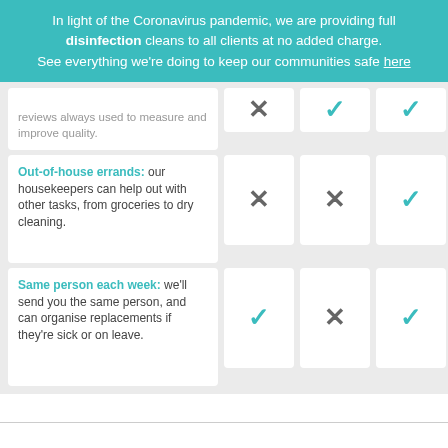In light of the Coronavirus pandemic, we are providing full disinfection cleans to all clients at no added charge. See everything we're doing to keep our communities safe here
| Feature | Option 1 | Option 2 | Option 3 |
| --- | --- | --- | --- |
| reviews always used to measure and improve quality. | ✗ | ✓ | ✓ |
| Out-of-house errands: our housekeepers can help out with other tasks, from groceries to dry cleaning. | ✗ | ✗ | ✓ |
| Same person each week: we'll send you the same person, and can organise replacements if they're sick or on leave. | ✓ | ✗ | ✓ |
Home / Housekeeping / Inala Housekeeping